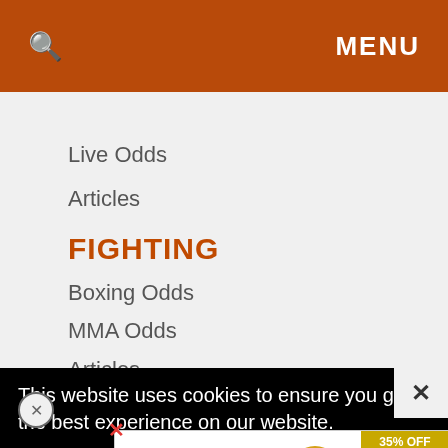🔍  MENU
Live Odds
Articles
FIGHTING
Boxing Odds
MMA Odds
Articles
Sports Betting
[Figure (screenshot): Blue banner image partially visible]
This website uses cookies to ensure you get the best experience on our website.
[Figure (infographic): Advertisement: The perfect gift - 35% OFF + FREE SHIPPING]